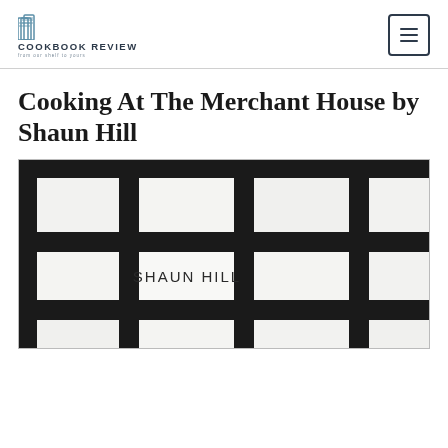COOKBOOK REVIEW
Cooking At The Merchant House by Shaun Hill
[Figure (photo): Book cover showing a grid/tile pattern in black and white with the text 'SHAUN HILL' printed on one of the white tiles]